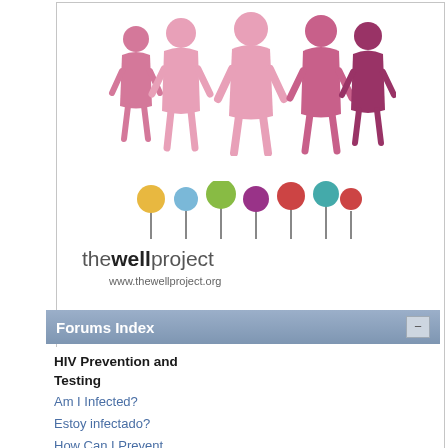[Figure (logo): The Well Project logo with people silhouettes graphic and colored dot flowers, with text 'thewellproject' and URL 'www.thewellproject.org']
Forums Index
HIV Prevention and Testing
Am I Infected?
Estoy infectado?
How Can I Prevent HIV?
Main Forums
I Just Tested Poz
Pages: [1]  Go Down
| Author | Topic: |
| --- | --- |
0 Members and 1 Guest are viewing this topic.
TabooPrincess
Member
Posts: 314
How do y mostly fr No, I'm r Anxious kept, this But I feel Any advi I also do
09/ 2008 -
11/2008 -
12/2008 -
03/2009 -
06/2009 -
08/2009 -
Started me